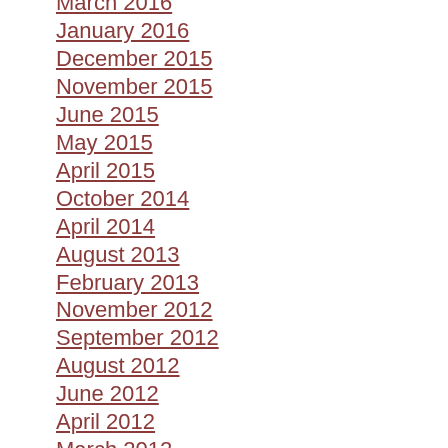March 2016
January 2016
December 2015
November 2015
June 2015
May 2015
April 2015
October 2014
April 2014
August 2013
February 2013
November 2012
September 2012
August 2012
June 2012
April 2012
March 2012
February 2012
January 2012